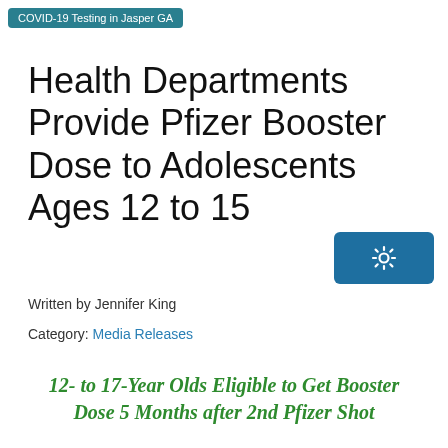COVID-19 Testing in Jasper GA
Health Departments Provide Pfizer Booster Dose to Adolescents Ages 12 to 15
Written by Jennifer King
Category: Media Releases
12- to 17-Year Olds Eligible to Get Booster Dose 5 Months after 2nd Pfizer Shot